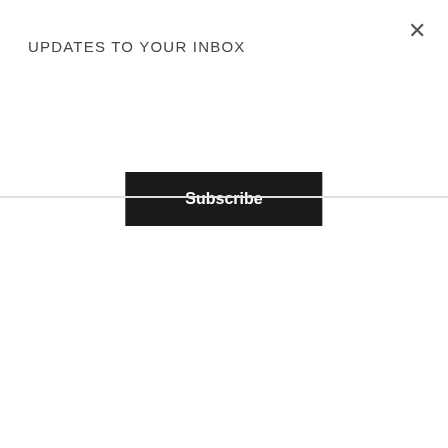UPDATES TO YOUR INBOX
Subscribe
Morse, keyboardist John 'JT' Thomas and John Molo on percussion. Each of these west coast musicians has played or recorded with artists such as Bruce Hornsby, Lou Reed, Richie Havens, Phil Lesh, Jackson Browne, Tracy Chapman and Nick Jameson. Visions truly captures a young artist
[Figure (illustration): Watercolor illustration of a wolf or coyote standing in tall grass with an acoustic guitar lying in the foreground against a warm sunset sky background]